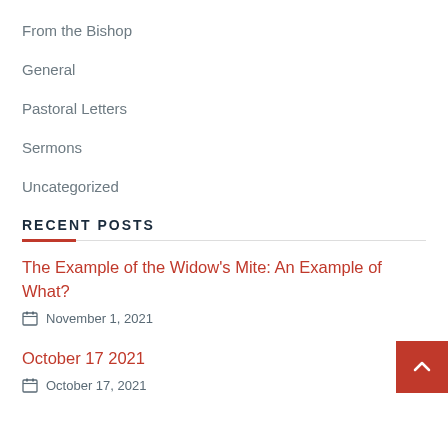From the Bishop
General
Pastoral Letters
Sermons
Uncategorized
RECENT POSTS
The Example of the Widow's Mite: An Example of What?
November 1, 2021
October 17 2021
October 17, 2021